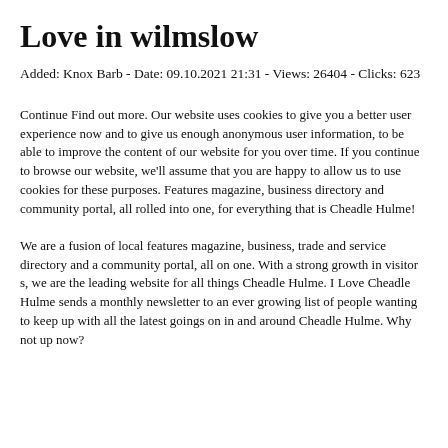Love in wilmslow
Added: Knox Barb - Date: 09.10.2021 21:31 - Views: 26404 - Clicks: 623
Continue Find out more. Our website uses cookies to give you a better user experience now and to give us enough anonymous user information, to be able to improve the content of our website for you over time. If you continue to browse our website, we'll assume that you are happy to allow us to use cookies for these purposes. Features magazine, business directory and community portal, all rolled into one, for everything that is Cheadle Hulme!
We are a fusion of local features magazine, business, trade and service directory and a community portal, all on one. With a strong growth in visitor s, we are the leading website for all things Cheadle Hulme. I Love Cheadle Hulme sends a monthly newsletter to an ever growing list of people wanting to keep up with all the latest goings on in and around Cheadle Hulme. Why not up now?